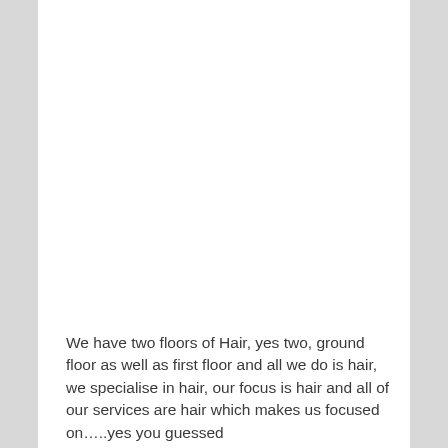We have two floors of Hair, yes two, ground floor as well as first floor and all we do is hair, we specialise in hair, our focus is hair and all of our services are hair which makes us focused on…..yes you guessed